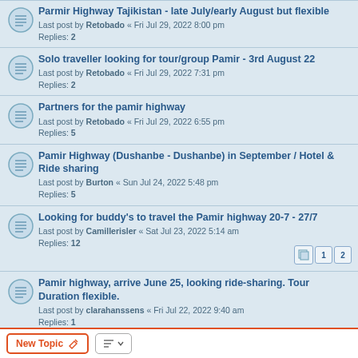Parmir Highway Tajikistan - late July/early August but flexible
Last post by Retobado « Fri Jul 29, 2022 8:00 pm
Replies: 2
Solo traveller looking for tour/group Pamir - 3rd August 22
Last post by Retobado « Fri Jul 29, 2022 7:31 pm
Replies: 2
Partners for the pamir highway
Last post by Retobado « Fri Jul 29, 2022 6:55 pm
Replies: 5
Pamir Highway (Dushanbe - Dushanbe) in September / Hotel & Ride sharing
Last post by Burton « Sun Jul 24, 2022 5:48 pm
Replies: 5
Looking for buddy's to travel the Pamir highway 20-7 - 27/7
Last post by Camillerisler « Sat Jul 23, 2022 5:14 am
Replies: 12
Pamir highway, arrive June 25, looking ride-sharing. Tour Duration flexible.
Last post by clarahanssens « Fri Jul 22, 2022 9:40 am
Replies: 1
Pamir highway Jeep tour (23th of June - 3rd of July)
Last post by clarahanssens « Fri Jul 22, 2022 9:40 am
Replies: 2
Pamir higwhay Dushanbe to Osh - 9 days from 26th of June
Last post by clarahanssens « Fri Jul 22, 2022 9:28 am